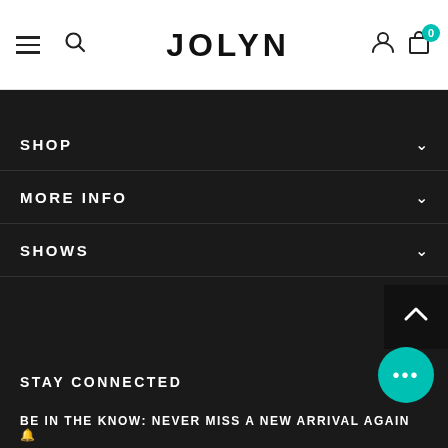JOLYN
SHOP
MORE INFO
SHOWS
STAY CONNECTED
[Figure (other): Social media icons: Facebook, Google+, Instagram, Pinterest, YouTube]
BE IN THE KNOW: NEVER MISS A NEW ARRIVAL AGAIN 🔔